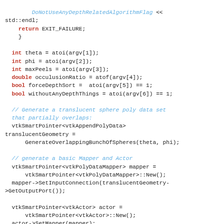Code snippet showing C++ VTK rendering setup with depth peeling parameters and translucent sphere geometry generation.